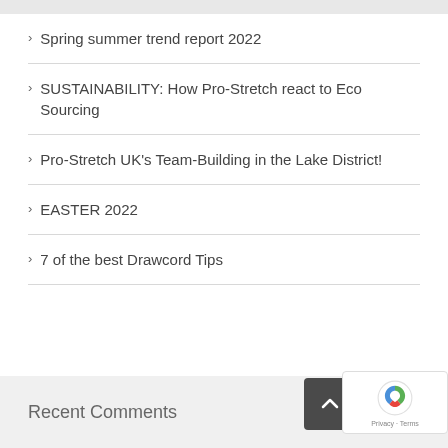Spring summer trend report 2022
SUSTAINABILITY: How Pro-Stretch react to Eco Sourcing
Pro-Stretch UK's Team-Building in the Lake District!
EASTER 2022
7 of the best Drawcord Tips
Recent Comments